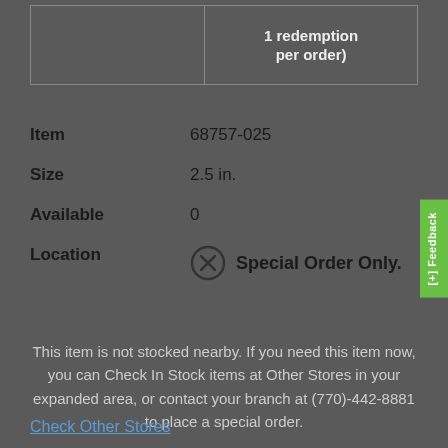|  | 1 redemption per order) |
| --- | --- |
|  | 1 redemption per order) |
Item   68757-025
Size   2.5 in.
Available   0
Location   ⊗ Special Order Only.
This item is not stocked nearby. If you need this item now, you can Check In Stock items at Other Stores in your expanded area, or contact your branch at (770)-442-8881 to place a special order.
Check Other Stores